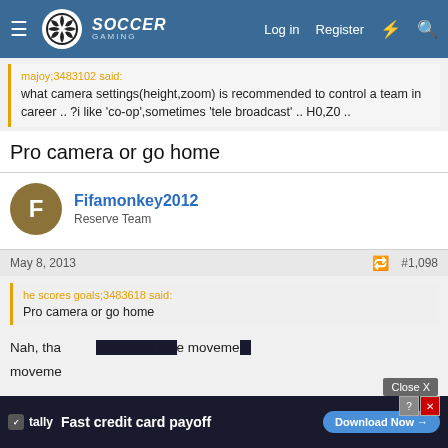Soccer Gaming – Log in | Register
majoy;3483102 said:
what camera settings(height,zoom) is recommended to control a team in career .. ?i like 'co-op',sometimes 'tele broadcast' .. H0,Z0 ..
Pro camera or go home
Fifamonkey2012
Reserve Team
May 8, 2013  #1,098
he scores goals;3483618 said:
Pro camera or go home
Nah, that is ... movement ...